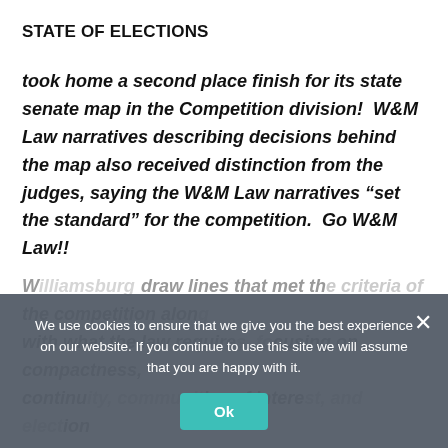STATE OF ELECTIONS
took home a second place finish for its state senate map in the Competition division!  W&M Law narratives describing decisions behind the map also received distinction from the judges, saying the W&M Law narratives “set the standard” for the competition.  Go W&M Law!!
W[...] draw lines that met the [...] the competition along with what the law require[...] cusing on compactness, continu[ity, communit]ies of intere[st, and...]
We use cookies to ensure that we give you the best experience on our website. If you continue to use this site we will assume that you are happy with it.